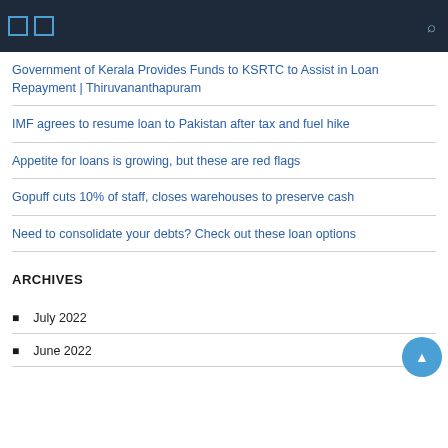Navigation header bar with icons
Government of Kerala Provides Funds to KSRTC to Assist in Loan Repayment | Thiruvananthapuram
IMF agrees to resume loan to Pakistan after tax and fuel hike
Appetite for loans is growing, but these are red flags
Gopuff cuts 10% of staff, closes warehouses to preserve cash
Need to consolidate your debts? Check out these loan options
ARCHIVES
July 2022
June 2022